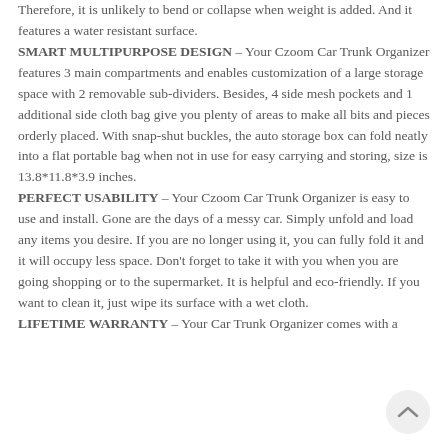Therefore, it is unlikely to bend or collapse when weight is added. And it features a water resistant surface. SMART MULTIPURPOSE DESIGN – Your Czoom Car Trunk Organizer features 3 main compartments and enables customization of a large storage space with 2 removable sub-dividers. Besides, 4 side mesh pockets and 1 additional side cloth bag give you plenty of areas to make all bits and pieces orderly placed. With snap-shut buckles, the auto storage box can fold neatly into a flat portable bag when not in use for easy carrying and storing, size is 13.8*11.8*3.9 inches. PERFECT USABILITY – Your Czoom Car Trunk Organizer is easy to use and install. Gone are the days of a messy car. Simply unfold and load any items you desire. If you are no longer using it, you can fully fold it and it will occupy less space. Don't forget to take it with you when you are going shopping or to the supermarket. It is helpful and eco-friendly. If you want to clean it, just wipe its surface with a wet cloth. LIFETIME WARRANTY – Your Car Trunk Organizer comes with a